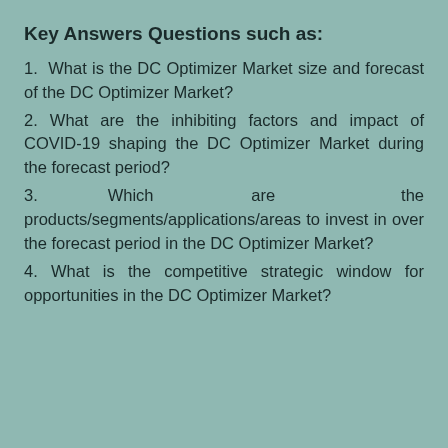Key Answers Questions such as:
1. What is the DC Optimizer Market size and forecast of the DC Optimizer Market?
2. What are the inhibiting factors and impact of COVID-19 shaping the DC Optimizer Market during the forecast period?
3. Which are the products/segments/applications/areas to invest in over the forecast period in the DC Optimizer Market?
4. What is the competitive strategic window for opportunities in the DC Optimizer Market?